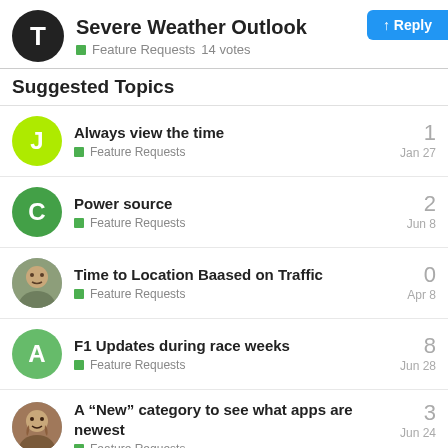Severe Weather Outlook
Feature Requests  14 votes
Suggested Topics
Always view the time
Feature Requests
1
Jan 27
Power source
Feature Requests
2
Jun 8
Time to Location Baased on Traffic
Feature Requests
0
Apr 8
F1 Updates during race weeks
Feature Requests
8
Jun 28
A “New” category to see what apps are newest
Feature Requests
3
Jun 24